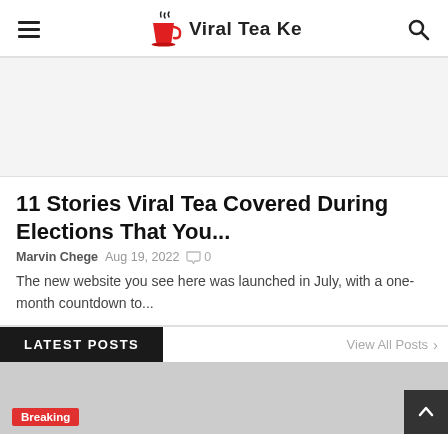Viral Tea Ke
[Figure (other): Advertisement banner placeholder with light gray background]
11 Stories Viral Tea Covered During Elections That You...
Marvin Chege  Aug 19, 2022  0
The new website you see here was launched in July, with a one-month countdown to...
LATEST POSTS
View All Posts >
[Figure (photo): Post thumbnail image in gray with a red 'Breaking' badge in bottom left corner]